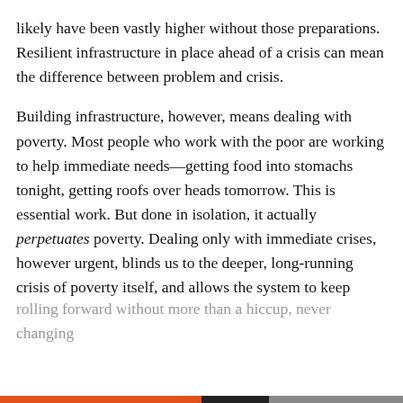likely have been vastly higher without those preparations. Resilient infrastructure in place ahead of a crisis can mean the difference between problem and crisis.
Building infrastructure, however, means dealing with poverty. Most people who work with the poor are working to help immediate needs—getting food into stomachs tonight, getting roofs over heads tomorrow. This is essential work. But done in isolation, it actually perpetuates poverty. Dealing only with immediate crises, however urgent, blinds us to the deeper, long-running crisis of poverty itself, and allows the system to keep rolling forward without more than a hiccup, never changing
Privacy & Cookies: This site uses cookies. By continuing to use this website, you agree to their use.
To find out more, including how to control cookies, see here: Cookie Policy